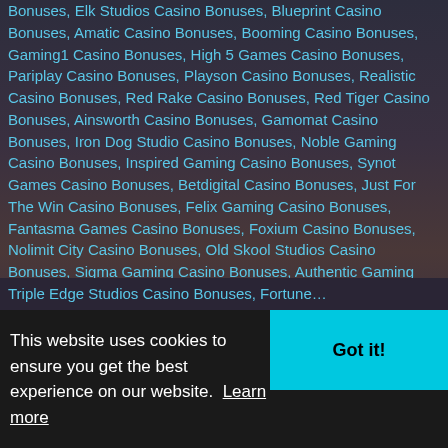Bonuses, Elk Studios Casino Bonuses, Blueprint Casino Bonuses, Amatic Casino Bonuses, Booming Casino Bonuses, Gaming1 Casino Bonuses, High 5 Games Casino Bonuses, Pariplay Casino Bonuses, Playson Casino Bonuses, Realistic Casino Bonuses, Red Rake Casino Bonuses, Red Tiger Casino Bonuses, Ainsworth Casino Bonuses, Gamomat Casino Bonuses, Iron Dog Studio Casino Bonuses, Noble Gaming Casino Bonuses, Inspired Gaming Casino Bonuses, Synot Games Casino Bonuses, Betdigital Casino Bonuses, Just For The Win Casino Bonuses, Felix Gaming Casino Bonuses, Fantasma Games Casino Bonuses, Foxium Casino Bonuses, Nolimit City Casino Bonuses, Old Skool Studios Casino Bonuses, Sigma Gaming Casino Bonuses, Authentic Gaming Casino Bonuses, Electric Elephant Casino Bonuses, All41 Studios Casino Bonuses, Triple Edge Studios Casino Bonuses, Fortune...
This website uses cookies to ensure you get the best experience on our website. Learn more
Got it!